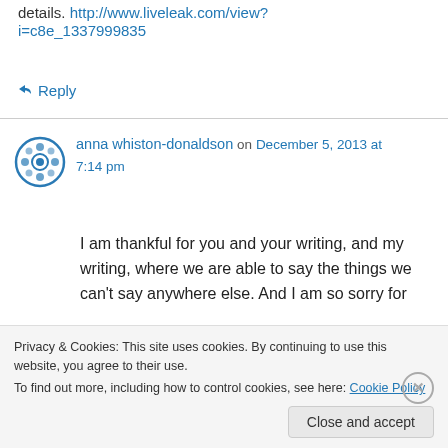details. http://www.liveleak.com/view?i=c8e_1337999835
↪ Reply
anna whiston-donaldson on December 5, 2013 at 7:14 pm
I am thankful for you and your writing, and my writing, where we are able to say the things we can't say anywhere else. And I am so sorry for
Privacy & Cookies: This site uses cookies. By continuing to use this website, you agree to their use.
To find out more, including how to control cookies, see here: Cookie Policy
Close and accept